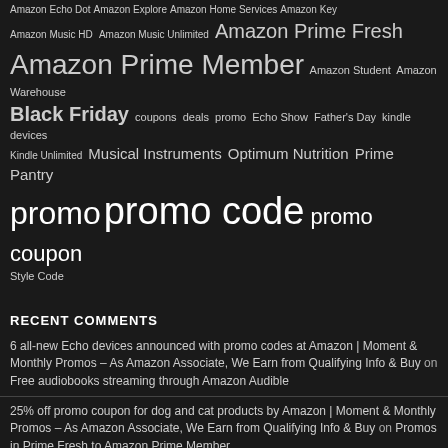Amazon Echo Dot Amazon Explore Amazon Home Services Amazon Key Amazon Music HD Amazon Music Unlimited Amazon Prime Fresh Amazon Prime Member Amazon Student Amazon Warehouse Black Friday coupons deals promo Echo Show Father's Day kindle devices Kindle Unlimited Musical Instruments Optimum Nutrition Prime Pantry promo promo code promo coupon Style Code
RECENT COMMENTS
6 all-new Echo devices announced with promo codes at Amazon | Moment & Monthly Promos – As Amazon Associate, We Earn from Qualifying Info & Buy on Free audiobooks streaming through Amazon Audible
25% off promo coupon for dog and cat products by Amazon | Moment & Monthly Promos – As Amazon Associate, We Earn from Qualifying Info & Buy on Promos in Prime Fresh to Amazon Prime Member
Promos for new consort products through Amazon Day 1 Editions